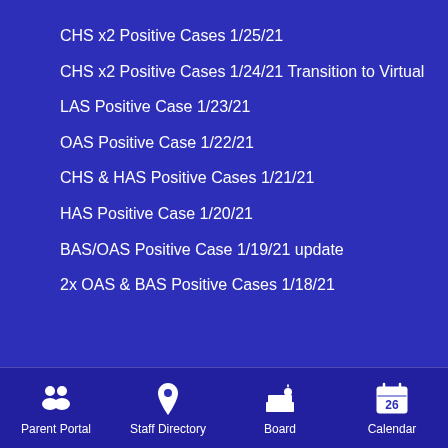CHS x2 Positive Cases 1/25/21
CHS x2 Positive Cases 1/24/21 Transition to Virtual
LAS Positive Case 1/23/21
OAS Positive Case 1/22/21
CHS & HAS Positive Cases 1/21/21
HAS Positive Case 1/20/21
BAS/OAS Positive Case 1/19/21 update
2x OAS & BAS Positive Cases 1/18/21
Parent Portal  Staff Directory  Board  Calendar